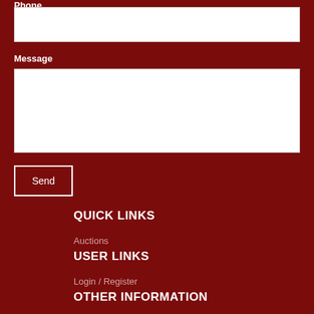Phone
[Figure (screenshot): Phone input text field (white rectangle)]
Message
[Figure (screenshot): Message textarea input field (white rectangle)]
Send
QUICK LINKS
Auctions
USER LINKS
Login / Register
OTHER INFORMATION
Privacy Policy